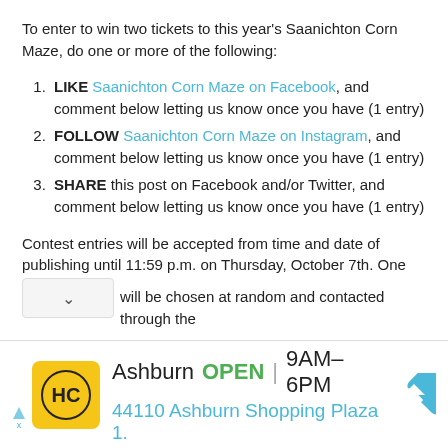To enter to win two tickets to this year's Saanichton Corn Maze, do one or more of the following:
LIKE Saanichton Corn Maze on Facebook, and comment below letting us know once you have (1 entry)
FOLLOW Saanichton Corn Maze on Instagram, and comment below letting us know once you have (1 entry)
SHARE this post on Facebook and/or Twitter, and comment below letting us know once you have (1 entry)
Contest entries will be accepted from time and date of publishing until 11:59 p.m. on Thursday, October 7th. One [winner] will be chosen at random and contacted through the
[Figure (screenshot): Advertisement bar showing HC logo, Ashburn location, OPEN 9AM-6PM, 44110 Ashburn Shopping Plaza 1., and navigation arrow icon]